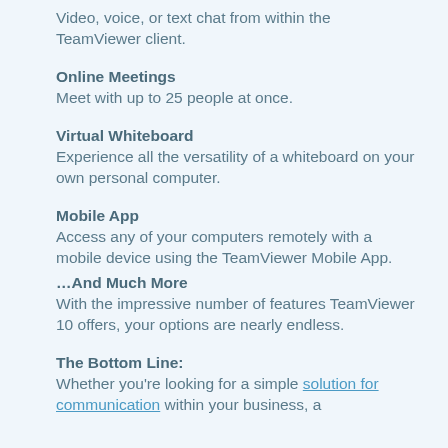Video, voice, or text chat from within the TeamViewer client.
Online Meetings
Meet with up to 25 people at once.
Virtual Whiteboard
Experience all the versatility of a whiteboard on your own personal computer.
Mobile App
Access any of your computers remotely with a mobile device using the TeamViewer Mobile App.
…And Much More
With the impressive number of features TeamViewer 10 offers, your options are nearly endless.
The Bottom Line:
Whether you're looking for a simple solution for communication within your business, a